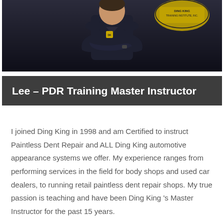[Figure (photo): Photo of Lee, a man in a dark polo shirt with arms crossed, standing in front of a dark background with a Ding King Training Institute, Inc. logo visible in the upper right]
Lee – PDR Training Master Instructor
I joined Ding King in 1998 and am Certified to instruct Paintless Dent Repair and ALL Ding King automotive appearance systems we offer. My experience ranges from performing services in the field for body shops and used car dealers, to running retail paintless dent repair shops. My true passion is teaching and have been Ding King 's Master Instructor for the past 15 years.